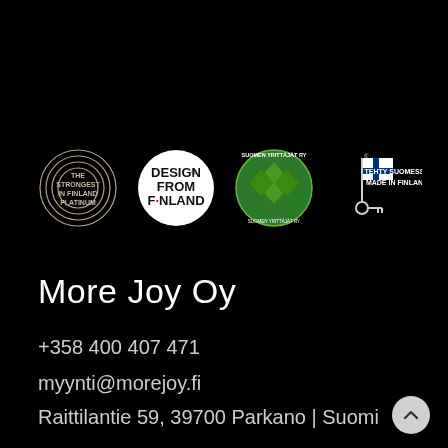[Figure (logo): Row of four certification/brand logos on black background: 1) The Strongest in Finland Platinum circular badge, 2) Design from Finland white circle badge, 3) Suomen Yrittäjät ry green circular badge, 4) Tehty Suomessa / Made in Finland Finnish flag key logo]
More Joy Oy
+358 400 407 471
myynti@morejoy.fi
Raittilantie 59, 39700 Parkano | Suomi